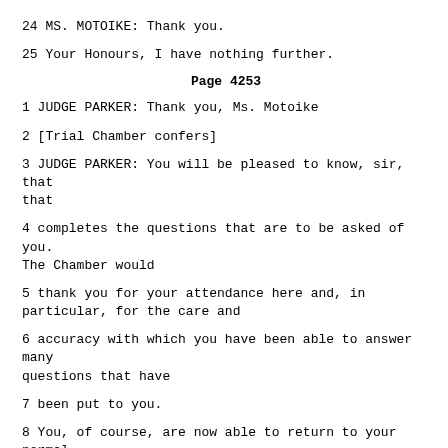24 MS. MOTOIKE: Thank you.
25 Your Honours, I have nothing further.
Page 4253
1 JUDGE PARKER: Thank you, Ms. Motoike
2 [Trial Chamber confers]
3 JUDGE PARKER: You will be pleased to know, sir, that that
4 completes the questions that are to be asked of you. The Chamber would
5 thank you for your attendance here and, in particular, for the care and
6 accuracy with which you have been able to answer many questions that have
7 been put to you.
8 You, of course, are now able to return to your normal activities.
9 When we rise, the court officer will show you out.
10 That being the position, we now adjourn to continue tomorrow at